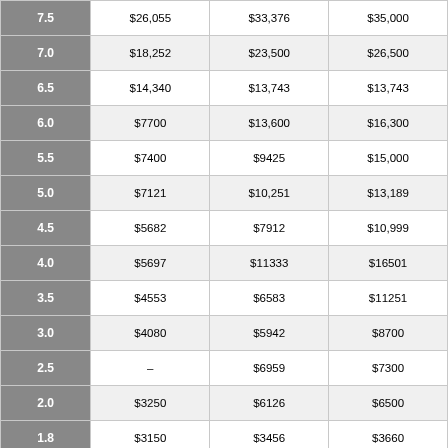|  |  |  |  |
| --- | --- | --- | --- |
| 7.5 | $26,055 | $33,376 | $35,000 |
| 7.0 | $18,252 | $23,500 | $26,500 |
| 6.5 | $14,340 | $13,743 | $13,743 |
| 6.0 | $7700 | $13,600 | $16,300 |
| 5.5 | $7400 | $9425 | $15,000 |
| 5.0 | $7121 | $10,251 | $13,189 |
| 4.5 | $5682 | $7912 | $10,999 |
| 4.0 | $5697 | $11333 | $16501 |
| 3.5 | $4553 | $6583 | $11251 |
| 3.0 | $4080 | $5942 | $8700 |
| 2.5 | – | $6959 | $7300 |
| 2.0 | $3250 | $6126 | $6500 |
| 1.8 | $3150 | $3456 | $3660 |
| 1.5 | $2476 | $5098 | $5200 |
| 1.0 | – | $4015 | $5300 |
| 0.5 | – | $1655 | $2101 |